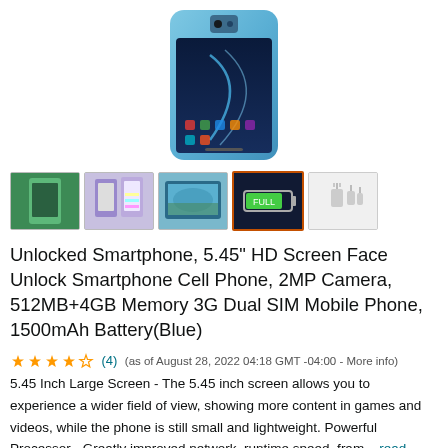[Figure (photo): Blue smartphone product image shown from back angle, partial view at top of page]
[Figure (photo): Row of 5 product thumbnail images: phone back view, phone display, landscape screen, battery/charging, accessories]
Unlocked Smartphone, 5.45" HD Screen Face Unlock Smartphone Cell Phone, 2MP Camera, 512MB+4GB Memory 3G Dual SIM Mobile Phone, 1500mAh Battery(Blue)
★★★★☆ (4) (as of August 28, 2022 04:18 GMT -04:00 - More info) 5.45 Inch Large Screen - The 5.45 inch screen allows you to experience a wider field of view, showing more content in games and videos, while the phone is still small and lightweight. Powerful Processor - Greatly improved network, runtime speed, fram... read more